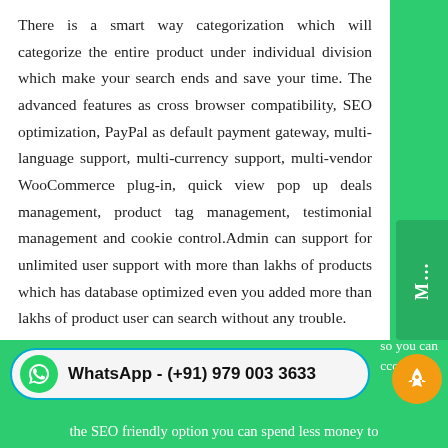There is a smart way categorization which will categorize the entire product under individual division which make your search ends and save your time. The advanced features as cross browser compatibility, SEO optimization, PayPal as default payment gateway, multi-language support, multi-currency support, multi-vendor WooCommerce plug-in, quick view pop up deals management, product tag management, testimonial management and cookie control.Admin can support for unlimited user support with more than lakhs of products which has database optimized even you added more than lakhs of product user can search without any trouble.
[Figure (other): WhatsApp contact bar with green WhatsApp icon and text: WhatsApp - (+91) 979 003 3633, styled as a rounded pill button with teal border]
so you can according the SEO friendly option you can spend less money to